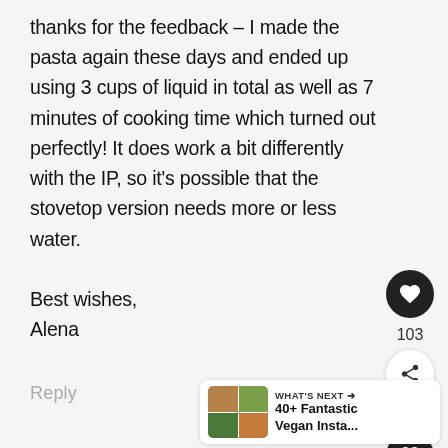thanks for the feedback – I made the pasta again these days and ended up using 3 cups of liquid in total as well as 7 minutes of cooking time which turned out perfectly! It does work a bit differently with the IP, so it's possible that the stovetop version needs more or less water. Best wishes, Alena
Reply
[Figure (screenshot): What's Next widget showing food images and text '40+ Fantastic Vegan Insta...']